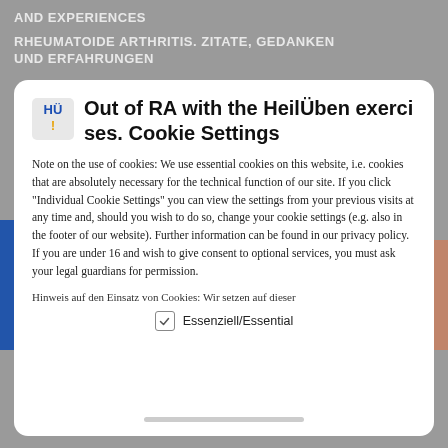AND EXPERIENCES
RHEUMATOIDE ARTHRITIS. ZITATE, GEDANKEN UND ERFAHRUNGEN
[Figure (screenshot): Cookie consent modal dialog for HeilÜben website]
Out of RA with the HeilÜben exercises. Cookie Settings
Note on the use of cookies: We use essential cookies on this website, i.e. cookies that are absolutely necessary for the technical function of our site. If you click "Individual Cookie Settings" you can view the settings from your previous visits at any time and, should you wish to do so, change your cookie settings (e.g. also in the footer of our website). Further information can be found in our privacy policy. If you are under 16 and wish to give consent to optional services, you must ask your legal guardians for permission.
Hinweis auf den Einsatz von Cookies: Wir setzen auf dieser
Essenziell/Essential